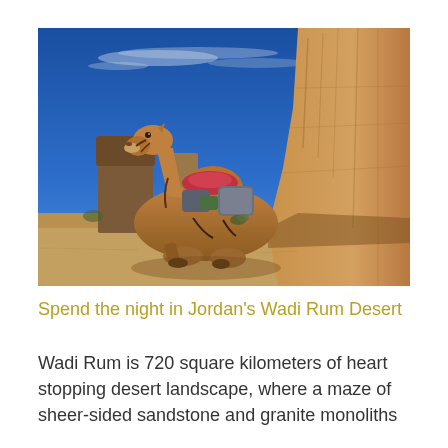[Figure (photo): A camel with a red and grey saddle resting on sandy desert ground beside tall golden-brown sandstone rock formations under a vivid deep blue sky with wispy white clouds. Additional rock formations visible in the background left. Desert scrub visible in the midground.]
Spend the night in Jordan's Wadi Rum Desert
Wadi Rum is 720 square kilometers of heart stopping desert landscape, where a maze of sheer-sided sandstone and granite monoliths